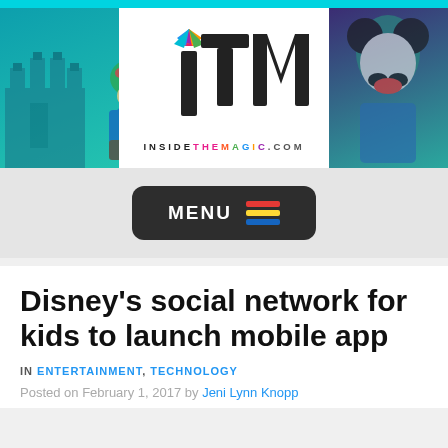[Figure (logo): InsideTheMagic.com (iTM) website header banner with logo, decorative themed park imagery on left and right sides]
[Figure (screenshot): Dark rounded rectangle MENU button with colorful hamburger icon lines (red, yellow, blue)]
Disney’s social network for kids to launch mobile app
IN ENTERTAINMENT, TECHNOLOGY
Posted on February 1, 2017 by Jeni Lynn Knopp